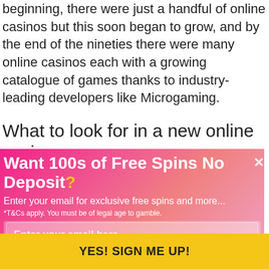beginning, there were just a handful of online casinos but this soon began to grow, and by the end of the nineties there were many online casinos each with a growing catalogue of games thanks to industry-leading developers like Microgaming.
What to look for in a new online casino
...to get the best of both worlds visiting old and new online casinos. ...some of the ...have made improvements that will ...always after offer a
[Figure (other): Modal popup with pink/magenta gradient background. Title: 'Want 100s of Free Spins No Deposit?' with a yellow question mark. Subtitle: 'Enter your email for exclusive free spins and more...' Footnote: '*T&Cs apply. You must be of legal age to gamble.' Email input field placeholder: 'Enter your email here...' Submit button: 'YES! SIGN ME UP!' in yellow. Close button (x) in top right.]